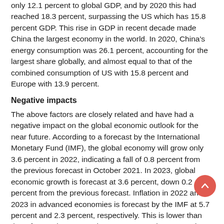only 12.1 percent to global GDP, and by 2020 this had reached 18.3 percent, surpassing the US which has 15.8 percent GDP. This rise in GDP in recent decade made China the largest economy in the world. In 2020, China's energy consumption was 26.1 percent, accounting for the largest share globally, and almost equal to that of the combined consumption of US with 15.8 percent and Europe with 13.9 percent.
Negative impacts
The above factors are closely related and have had a negative impact on the global economic outlook for the near future. According to a forecast by the International Monetary Fund (IMF), the global economy will grow only 3.6 percent in 2022, indicating a fall of 0.8 percent from the previous forecast in October 2021. In 2023, global economic growth is forecast at 3.6 percent, down 0.2 percent from the previous forecast. Inflation in 2022 and 2023 in advanced economies is forecast by the IMF at 5.7 percent and 2.3 percent, respectively. This is lower than that of emerging economies at 8.7 percentin 2022 and 6.5 percent in 2023.
The multipolar trend of the world economy will become more